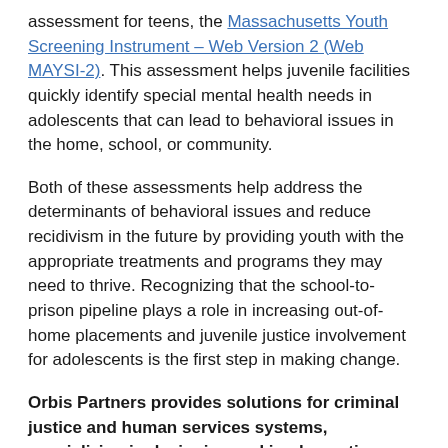assessment for teens, the Massachusetts Youth Screening Instrument – Web Version 2 (Web MAYSI-2). This assessment helps juvenile facilities quickly identify special mental health needs in adolescents that can lead to behavioral issues in the home, school, or community.
Both of these assessments help address the determinants of behavioral issues and reduce recidivism in the future by providing youth with the appropriate treatments and programs they may need to thrive. Recognizing that the school-to-prison pipeline plays a role in increasing out-of-home placements and juvenile justice involvement for adolescents is the first step in making change.
Orbis Partners provides solutions for criminal justice and human services systems, specializing in designing and implementing services for at-risk client groups. Orbis' risk/needs and strengths